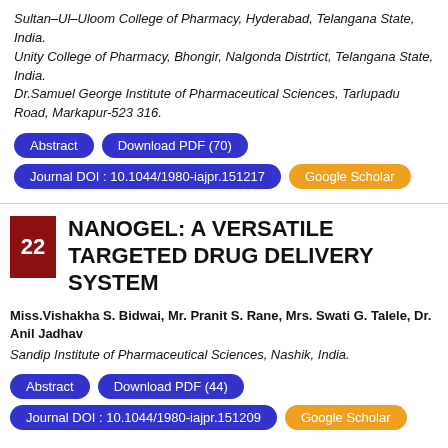Sultan–Ul–Uloom College of Pharmacy, Hyderabad, Telangana State, India.
Unity College of Pharmacy, Bhongir, Nalgonda Distrtict, Telangana State, India.
Dr.Samuel George Institute of Pharmaceutical Sciences, Tarlupadu Road, Markapur-523 316.
Abstract | Download PDF (70) | Journal DOI : 10.1044/1980-iajpr.151217 | Google Scholar
NANOGEL: A VERSATILE TARGETED DRUG DELIVERY SYSTEM
Miss.Vishakha S. Bidwai, Mr. Pranit S. Rane, Mrs. Swati G. Talele, Dr. Anil Jadhav
Sandip Institute of Pharmaceutical Sciences, Nashik, India.
Abstract | Download PDF (44) | Journal DOI : 10.1044/1980-iajpr.151209 | Google Scholar